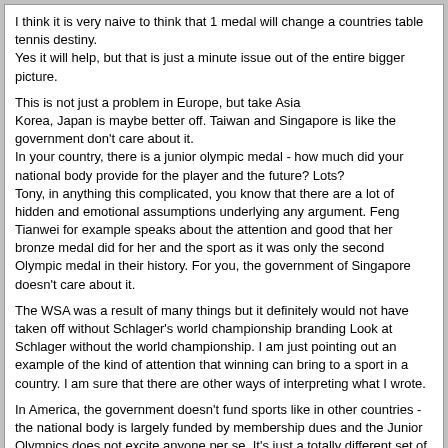I think it is very naive to think that 1 medal will change a countries table tennis destiny.
Yes it will help, but that is just a minute issue out of the entire bigger picture.

This is not just a problem in Europe, but take Asia
Korea, Japan is maybe better off. Taiwan and Singapore is like the government don't care about it.
In your country, there is a junior olympic medal - how much did your national body provide for the player and the future? Lots?
Tony, in anything this complicated, you know that there are a lot of hidden and emotional assumptions underlying any argument. Feng Tianwei for example speaks about the attention and good that her bronze medal did for her and the sport as it was only the second Olympic medal in their history. For you, the government of Singapore doesn't care about it.

The WSA was a result of many things but it definitely would not have taken off without Schlager's world championship branding Look at Schlager without the world championship. I am just pointing out an example of the kind of attention that winning can bring to a sport in a country. I am sure that there are other ways of interpreting what I wrote.

In America, the government doesn't fund sports like in other countries - the national body is largely funded by membership dues and the Junior Olympics does not excite anyone per se. It's just a totally different set of assumptions we are working under. I have accepted that.
Tony's Table Tennis   06-01-2016, 04:18 PM
Tony, in anything this complicated, you know that there are a lot of hidden and emotional assumptions underlying any argument. Feng Tianwei for example speaks about the attention and good that her bronze medal did for her and the sport as it was only the second Olympic medal in their history. For you, the government of Singapore doesn't care about it.

The WSA was a result of many things but it definitely would not have taken off without Schlager's world championship branding Look at Schlager without the